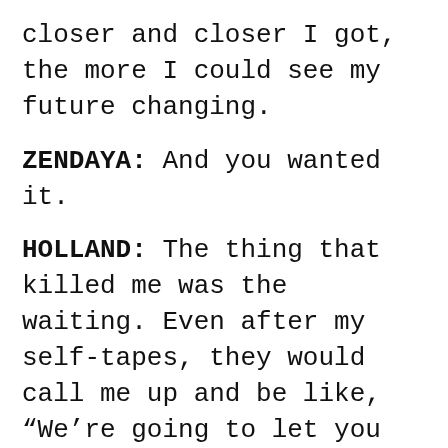closer and closer I got, the more I could see my future changing.
ZENDAYA: And you wanted it.
HOLLAND: The thing that killed me was the waiting. Even after my self-tapes, they would call me up and be like, “We’re going to let you know tomorrow.” Six auditions later, still nothing. On my last audition, they said, “You need to stay in Atlanta because we’ll tell you tomorrow.” So I stayed in Atlanta for about a week because my cousin lives there. With each passing day, there was no phone